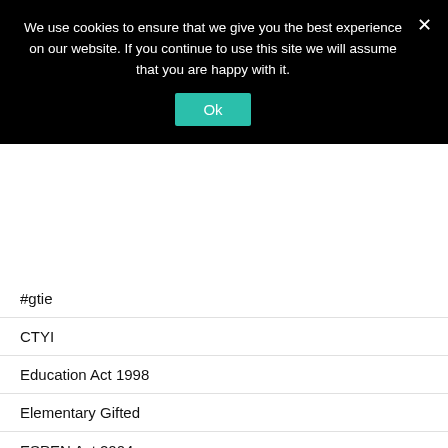We use cookies to ensure that we give you the best experience on our website. If you continue to use this site we will assume that you are happy with it.
#gtie
CTYI
Education Act 1998
Elementary Gifted
ESPEN Act 2004
Funding gifted education
GEAW 2012
GEAW 2013
gifted
Gifted and Talented Ireland